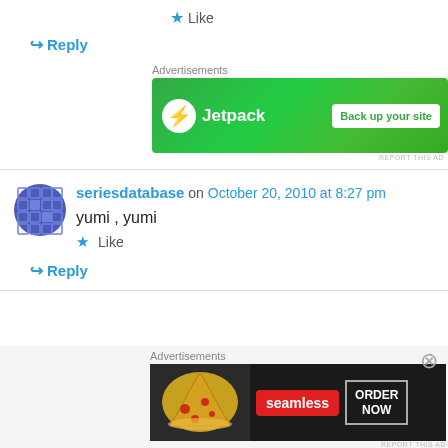★ Like
↪ Reply
[Figure (screenshot): Jetpack advertisement banner with green background showing Jetpack logo and 'Back up your site' button]
seriesdatabase on October 20, 2010 at 8:27 pm
yumi , yumi
★ Like
↪ Reply
[Figure (screenshot): Seamless food ordering advertisement with pizza image, Seamless logo, and ORDER NOW button on dark background]